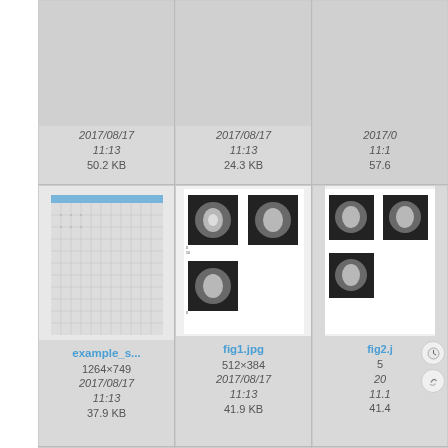[Figure (screenshot): File browser/gallery view showing thumbnails of scientific files. Row 1 (partially visible): three file cards with dates 2017/08/17 11:13 and sizes 50.2 KB, 24.3 KB, 57.6 KB. Row 2: example_s... (1264x749, 2017/08/17 11:13, 37.9 KB), fig1.jpg (512x384, 2017/08/17 11:13, 41.9 KB), fig2.j... (partially visible, 41.4 KB). Row 3: gamma_an... (PDF icon), headmodel... (3D head mesh image), headmo... (partially visible).]